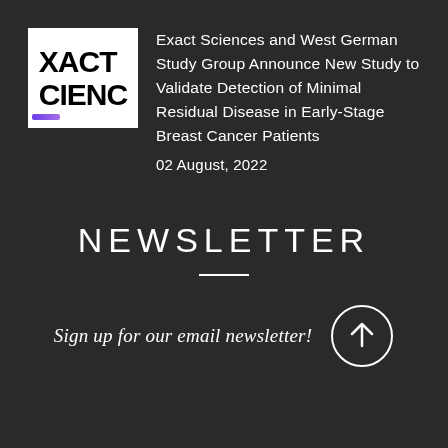[Figure (logo): Exact Sciences logo — white box with black bold text showing partial 'XACT' and 'CIENC' letters]
Exact Sciences and West German Study Group Announce New Study to Validate Detection of Minimal Residual Disease in Early-Stage Breast Cancer Patients
02 August, 2022
NEWSLETTER
Sign up for our email newsletter!